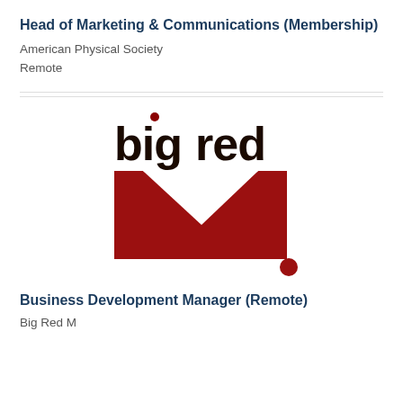Head of Marketing & Communications (Membership)
American Physical Society
Remote
[Figure (logo): Big Red M logo — text 'big red' in dark brown bold letters with a red dot above the 'i', below which is a large red letter M with a red dot/period to its right]
Business Development Manager (Remote)
Big Red M